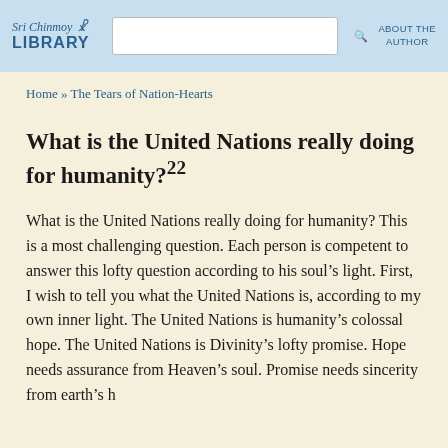Sri Chinmoy Library | ABOUT THE AUTHOR
Home » The Tears of Nation-Hearts
What is the United Nations really doing for humanity?22
What is the United Nations really doing for humanity? This is a most challenging question. Each person is competent to answer this lofty question according to his soul's light. First, I wish to tell you what the United Nations is, according to my own inner light. The United Nations is humanity's colossal hope. The United Nations is Divinity's lofty promise. Hope needs assurance from Heaven's soul. Promise needs sincerity from earth's heart.